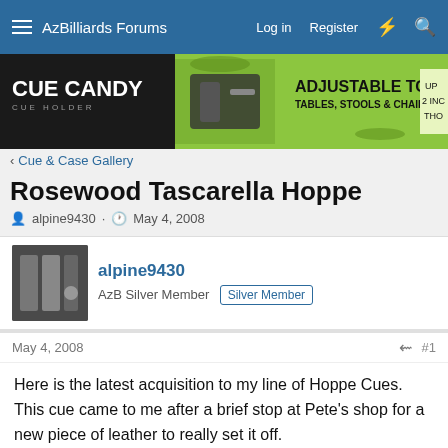AzBilliards Forums  Log in  Register
[Figure (illustration): Cue Candy Cue Holder advertisement banner. Black section on left with 'CUE CANDY CUE HOLDER' text, green section on right with 'ADJUSTABLE TO FIT MOST TABLES, STOOLS & CHAIRS' text and product image.]
< Cue & Case Gallery
Rosewood Tascarella Hoppe
alpine9430 · May 4, 2008
alpine9430
AzB Silver Member  Silver Member
May 4, 2008  #1
Here is the latest acquisition to my line of Hoppe Cues. This cue came to me after a brief stop at Pete's shop for a new piece of leather to really set it off.

First the pictures I received from Jimmy (just prior to the new smooth wrap being applied)...